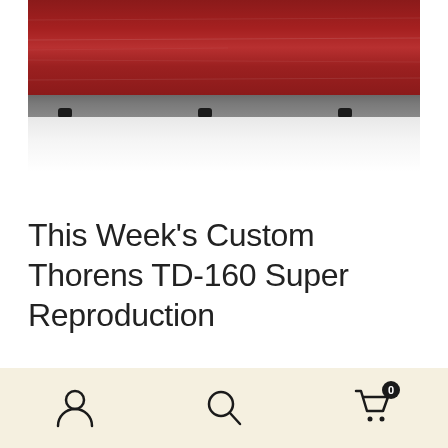[Figure (photo): Bottom portion of a Thorens turntable with mahogany/red wood finish on top, dark gray metal base strip with three rubber feet, resting on a white surface.]
This Week’s Custom Thorens TD-160 Super Reproduction
[Figure (infographic): Bottom navigation bar with three icons: user/account icon, search/magnifying glass icon, and shopping cart icon with badge showing 0.]